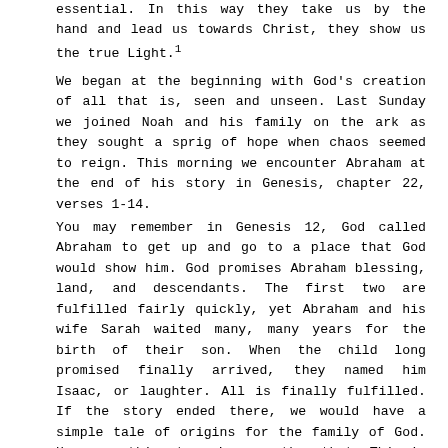essential. In this way they take us by the hand and lead us towards Christ, they show us the true Light.1
We began at the beginning with God's creation of all that is, seen and unseen. Last Sunday we joined Noah and his family on the ark as they sought a sprig of hope when chaos seemed to reign. This morning we encounter Abraham at the end of his story in Genesis, chapter 22, verses 1-14.
You may remember in Genesis 12, God called Abraham to get up and go to a place that God would show him. God promises Abraham blessing, land, and descendants. The first two are fulfilled fairly quickly, yet Abraham and his wife Sarah waited many, many years for the birth of their son. When the child long promised finally arrived, they named him Isaac, or laughter. All is finally fulfilled. If the story ended there, we would have a simple tale of origins for the family of God. However, this story is more than that. This is a story of call and response, a story of faith and sight. So, let us hear this Word of God.